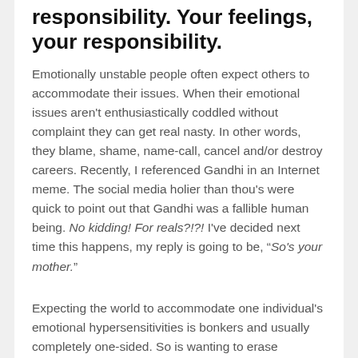responsibility. Your feelings, your responsibility.
Emotionally unstable people often expect others to accommodate their issues. When their emotional issues aren't enthusiastically coddled without complaint they can get real nasty. In other words, they blame, shame, name-call, cancel and/or destroy careers. Recently, I referenced Gandhi in an Internet meme. The social media holier than thou's were quick to point out that Gandhi was a fallible human being. No kidding! For reals?!?! I've decided next time this happens, my reply is going to be, "So's your mother."
Expecting the world to accommodate one individual's emotional hypersensitivities is bonkers and usually completely one-sided. So is wanting to erase someone from existence and/or negate the good they've done